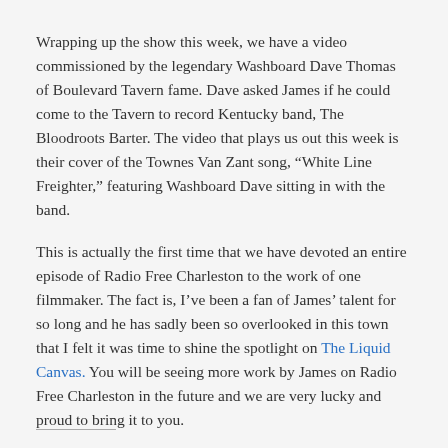Wrapping up the show this week, we have a video commissioned by the legendary Washboard Dave Thomas of Boulevard Tavern fame. Dave asked James if he could come to the Tavern to record Kentucky band, The Bloodroots Barter. The video that plays us out this week is their cover of the Townes Van Zant song, “White Line Freighter,” featuring Washboard Dave sitting in with the band.
This is actually the first time that we have devoted an entire episode of Radio Free Charleston to the work of one filmmaker. The fact is, I’ve been a fan of James’ talent for so long and he has sadly been so overlooked in this town that I felt it was time to shine the spotlight on The Liquid Canvas. You will be seeing more work by James on Radio Free Charleston in the future and we are very lucky and proud to bring it to you.